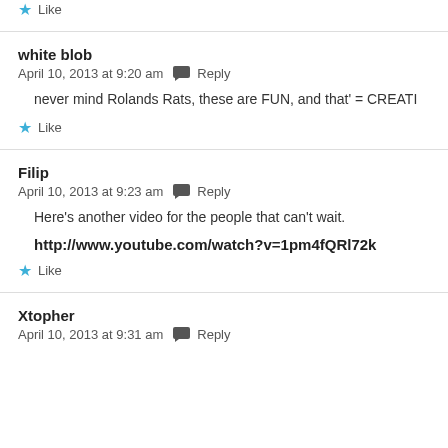Like
white blob
April 10, 2013 at 9:20 am  Reply
never mind Rolands Rats, these are FUN, and that' = CREATI
Like
Filip
April 10, 2013 at 9:23 am  Reply
Here's another video for the people that can't wait.
http://www.youtube.com/watch?v=1pm4fQRl72k
Like
Xtopher
April 10, 2013 at 9:31 am  Reply